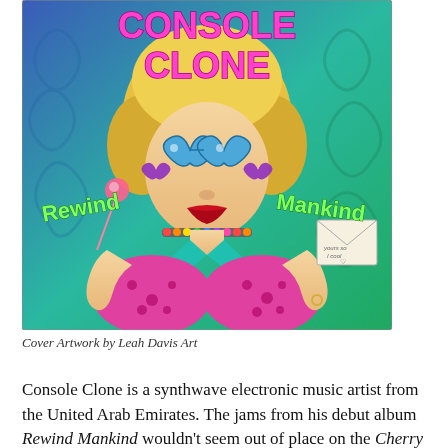[Figure (illustration): Album cover artwork for 'Console Clone - Rewind Mankind'. Features a stylized illustrated woman with blonde curly hair, heart-shaped blue sunglasses, pink leopard-print bikini top, teal halter straps, colorful bead choker, holding a lollipop in one hand and an envelope in the other. Text 'CONSOLE CLONE' in large pink 3D letters at top, 'Rewind' in green graffiti font on the left, 'Mankind' in green graffiti font on the right. Background is blue and teal/green with swirling decorative patterns.]
Cover Artwork by Leah Davis Art
Console Clone is a synthwave electronic music artist from the United Arab Emirates. The jams from his debut album Rewind Mankind wouldn't seem out of place on the Cherry 2000 film